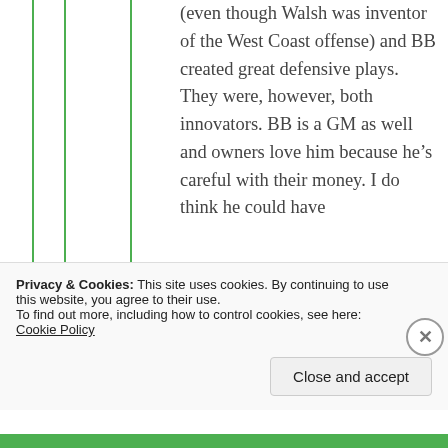(even though Walsh was inventor of the West Coast offense) and BB created great defensive plays. They were, however, both innovators. BB is a GM as well and owners love him because he's careful with their money. I do think he could have
Privacy & Cookies: This site uses cookies. By continuing to use this website, you agree to their use.
To find out more, including how to control cookies, see here: Cookie Policy
Close and accept